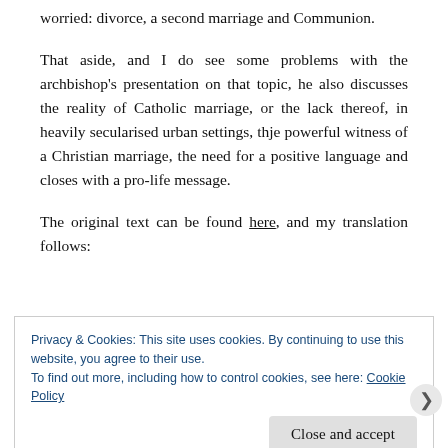worried: divorce, a second marriage and Communion.
That aside, and I do see some problems with the archbishop’s presentation on that topic, he also discusses the reality of Catholic marriage, or the lack thereof, in heavily secularised urban settings, thje powerful witness of a Christian marriage, the need for a positive language and closes with a pro-life message.
The original text can be found here, and my translation follows:
Privacy & Cookies: This site uses cookies. By continuing to use this website, you agree to their use.
To find out more, including how to control cookies, see here: Cookie Policy
[Close and accept button]